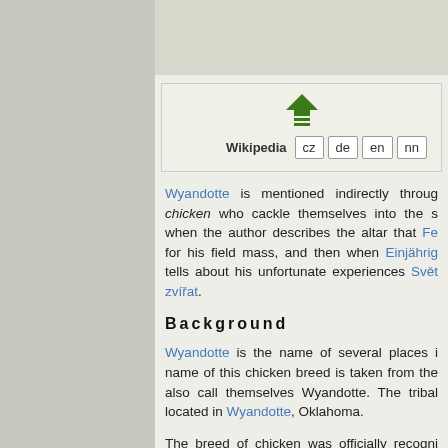[Figure (other): Green upload/arrow icon (upward arrow with horizontal lines beneath)]
Wikipedia  cz  de  en  nn
Wyandotte is mentioned indirectly through chicken who cackle themselves into the s when the author describes the altar that Fel for his field mass, and then when Einjährig tells about his unfortunate experiences Svět zvířat.
Background
Wyandotte is the name of several places i name of this chicken breed is taken from the also call themselves Wyandotte. The tribal located in Wyandotte, Oklahoma.
The breed of chicken was officially recogni borrowed the name from the above-mentio In Europe a midget-variation was bred later